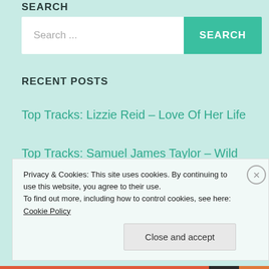SEARCH
[Figure (screenshot): Search bar with text input placeholder 'Search ...' and a teal 'SEARCH' button]
RECENT POSTS
Top Tracks: Lizzie Reid – Love Of Her Life
Top Tracks: Samuel James Taylor – Wild Tales and Broken Hearts
Privacy & Cookies: This site uses cookies. By continuing to use this website, you agree to their use.
To find out more, including how to control cookies, see here: Cookie Policy
Close and accept